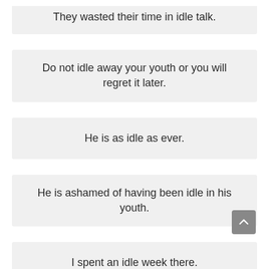They wasted their time in idle talk.
Do not idle away your youth or you will regret it later.
He is as idle as ever.
He is ashamed of having been idle in his youth.
I spent an idle week there.